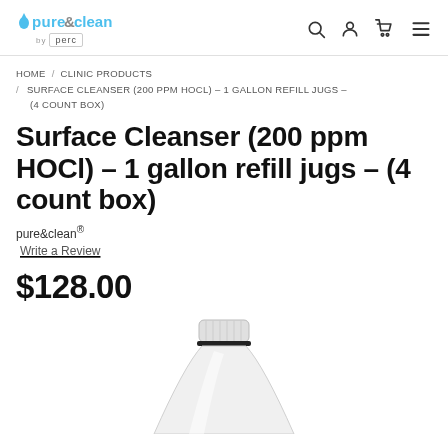pure&clean by perc [logo with navigation icons: search, account, cart, menu]
HOME / CLINIC PRODUCTS / SURFACE CLEANSER (200 PPM HOCL) – 1 GALLON REFILL JUGS – (4 COUNT BOX)
Surface Cleanser (200 ppm HOCl) – 1 gallon refill jugs – (4 count box)
pure&clean®
Write a Review
$128.00
[Figure (photo): Top portion of a white plastic gallon jug with a white ridged cap and a thin black seal ring, on a white background.]